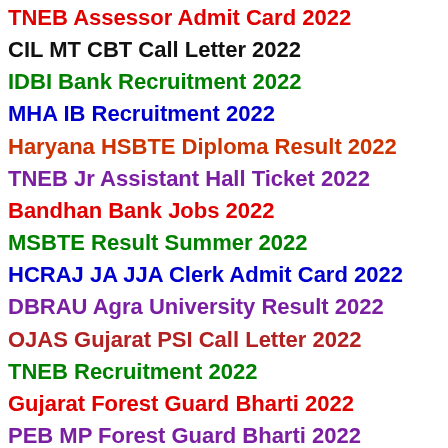TNEB Assessor Admit Card 2022
CIL MT CBT Call Letter 2022
IDBI Bank Recruitment 2022
MHA IB Recruitment 2022
Haryana HSBTE Diploma Result 2022
TNEB Jr Assistant Hall Ticket 2022
Bandhan Bank Jobs 2022
MSBTE Result Summer 2022
HCRAJ JA JJA Clerk Admit Card 2022
DBRAU Agra University Result 2022
OJAS Gujarat PSI Call Letter 2022
TNEB Recruitment 2022
Gujarat Forest Guard Bharti 2022
PEB MP Forest Guard Bharti 2022
Kolkata Police Recruitment 2022